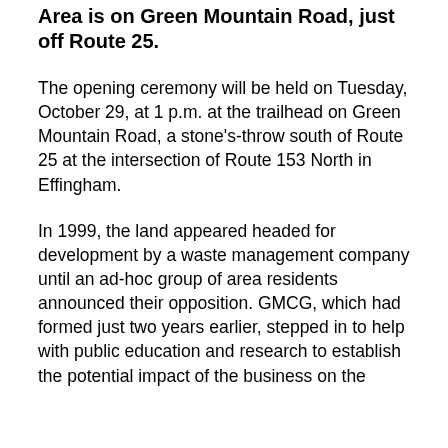Area is on Green Mountain Road, just off Route 25.
The opening ceremony will be held on Tuesday, October 29, at 1 p.m. at the trailhead on Green Mountain Road, a stone's-throw south of Route 25 at the intersection of Route 153 North in Effingham.
In 1999, the land appeared headed for development by a waste management company until an ad-hoc group of area residents announced their opposition. GMCG, which had formed just two years earlier, stepped in to help with public education and research to establish the potential impact of the business on the